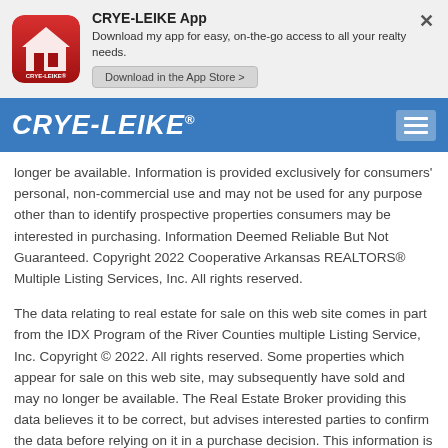[Figure (logo): CRYE-LEIKE app banner with red app icon and download button]
CRYE-LEIKE® navigation bar with hamburger menu
longer be available. Information is provided exclusively for consumers' personal, non-commercial use and may not be used for any purpose other than to identify prospective properties consumers may be interested in purchasing. Information Deemed Reliable But Not Guaranteed. Copyright 2022 Cooperative Arkansas REALTORS® Multiple Listing Services, Inc. All rights reserved.
The data relating to real estate for sale on this web site comes in part from the IDX Program of the River Counties multiple Listing Service, Inc. Copyright © 2022. All rights reserved. Some properties which appear for sale on this web site, may subsequently have sold and may no longer be available. The Real Estate Broker providing this data believes it to be correct, but advises interested parties to confirm the data before relying on it in a purchase decision. This information is being